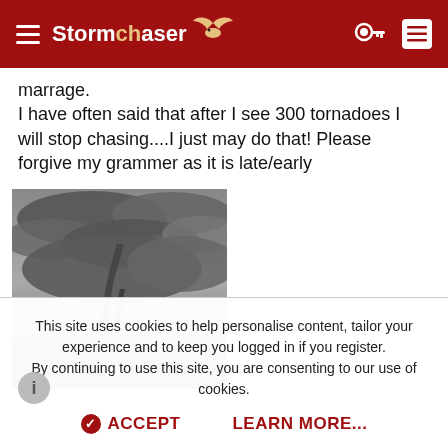StormChaser [logo with bird icon]
marrage.
I have often said that after I see 300 tornadoes I will stop chasing....I just may do that! Please forgive my grammer as it is late/early
[Figure (photo): Photo of a tornado forming over a flat road/highway with dark stormy clouds overhead and green fields visible.]
This site uses cookies to help personalise content, tailor your experience and to keep you logged in if you register.
By continuing to use this site, you are consenting to our use of cookies.
✔ ACCEPT    LEARN MORE...